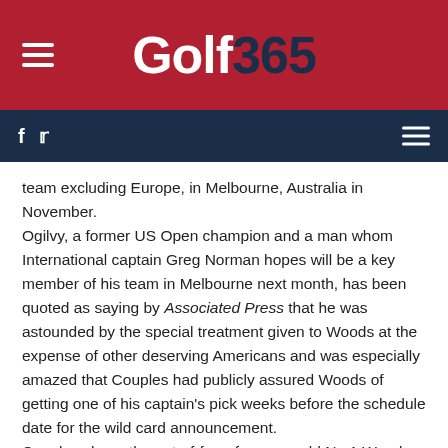Golf365
team excluding Europe, in Melbourne, Australia in November.
Ogilvy, a former US Open champion and a man whom International captain Greg Norman hopes will be a key member of his team in Melbourne next month, has been quoted as saying by Associated Press that he was astounded by the special treatment given to Woods at the expense of other deserving Americans and was especially amazed that Couples had publicly assured Woods of getting one of his captain's pick weeks before the schedule date for the wild card announcement.
Couples chose the out-of-form former world No.1 Woods and Tour Championship winner Bill Haas as his two discretionary picks, while Bradley missed out despite winning his major title and the Byron Nelson Championship this year.